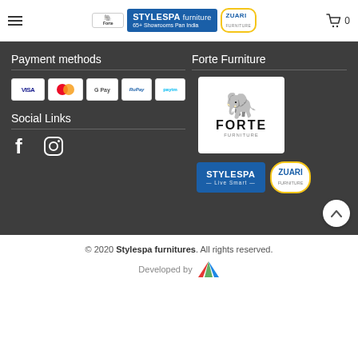STYLESPA furniture 65+ Showrooms Pan India | ZUARI FURNITURE
Payment methods
[Figure (logo): Payment method logos: VISA, Mastercard, G Pay, RuPay, Paytm]
Social Links
[Figure (logo): Facebook and Instagram social media icons]
Forte Furniture
[Figure (logo): Forte Furniture logo with elephant mascot]
[Figure (logo): StyleSpa Live Smart and Zuari Furniture logos]
© 2020 Stylespa furnitures. All rights reserved.
Developed by